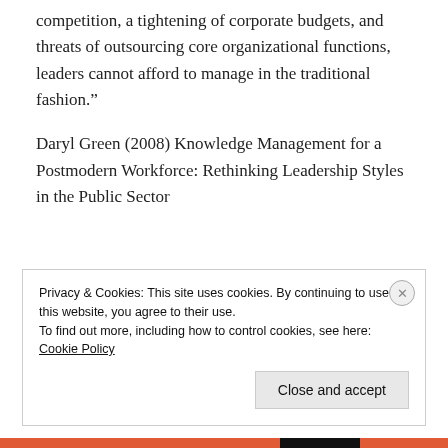competition, a tightening of corporate budgets, and threats of outsourcing core organizational functions, leaders cannot afford to manage in the traditional fashion.”
Daryl Green (2008) Knowledge Management for a Postmodern Workforce: Rethinking Leadership Styles in the Public Sector
Privacy & Cookies: This site uses cookies. By continuing to use this website, you agree to their use. To find out more, including how to control cookies, see here: Cookie Policy